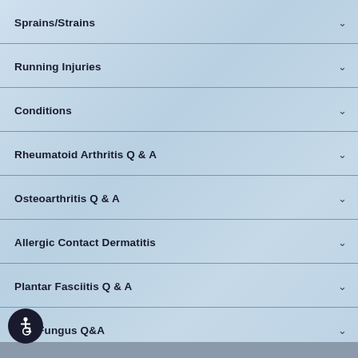Sprains/Strains
Running Injuries
Conditions
Rheumatoid Arthritis Q & A
Osteoarthritis Q & A
Allergic Contact Dermatitis
Plantar Fasciitis Q & A
Nail Fungus Q&A
Achilles Tendonitis